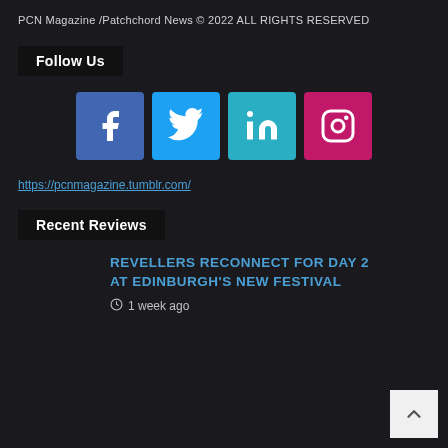PCN Magazine /Patchchord News © 2022 ALL RIGHTS RESERVED
Follow Us
[Figure (infographic): Four social media icon buttons: Facebook (blue), Twitter (light blue), LinkedIn (teal), Instagram (pink/magenta)]
https://pcnmagazine.tumblr.com/
Recent Reviews
REVELLERS RECONNECT FOR DAY 2 AT EDINBURGH'S NEW FESTIVAL
1 week ago